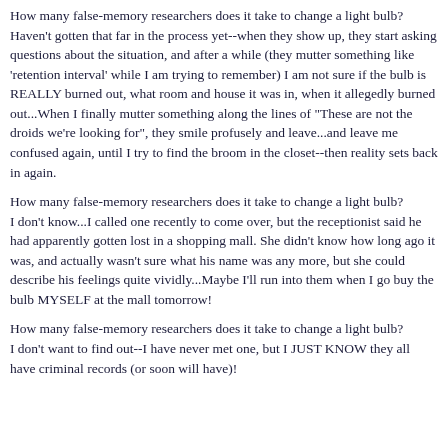How many false-memory researchers does it take to change a light bulb?
Haven't gotten that far in the process yet--when they show up, they start asking questions about the situation, and after a while (they mutter something like 'retention interval' while I am trying to remember) I am not sure if the bulb is REALLY burned out, what room and house it was in, when it allegedly burned out...When I finally mutter something along the lines of "These are not the droids we're looking for", they smile profusely and leave...and leave me confused again, until I try to find the broom in the closet--then reality sets back in again.
How many false-memory researchers does it take to change a light bulb?
I don't know...I called one recently to come over, but the receptionist said he had apparently gotten lost in a shopping mall. She didn't know how long ago it was, and actually wasn't sure what his name was any more, but she could describe his feelings quite vividly...Maybe I'll run into them when I go buy the bulb MYSELF at the mall tomorrow!
How many false-memory researchers does it take to change a light bulb?
I don't want to find out--I have never met one, but I JUST KNOW they all have criminal records (or soon will have)!